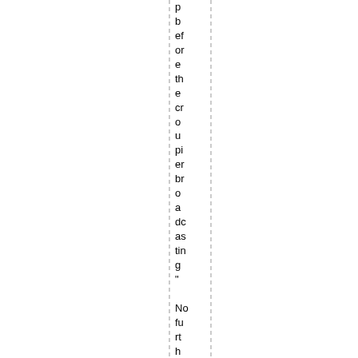p
b
ef
or
e
th
e
cr
o
u
pi
er
br
o
a
dc
as
tin
g
"

No
fu
rt
h
er
b
et
s.
"

A